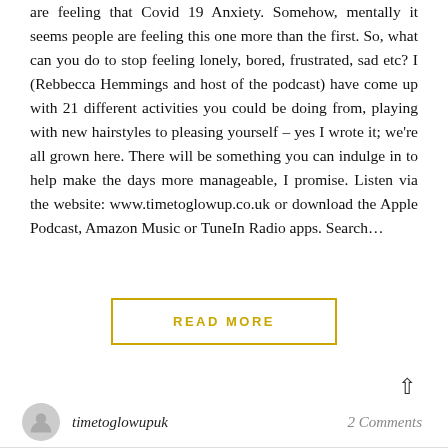are feeling that Covid 19 Anxiety. Somehow, mentally it seems people are feeling this one more than the first. So, what can you do to stop feeling lonely, bored, frustrated, sad etc? I (Rebbecca Hemmings and host of the podcast) have come up with 21 different activities you could be doing from, playing with new hairstyles to pleasing yourself – yes I wrote it; we're all grown here. There will be something you can indulge in to help make the days more manageable, I promise. Listen via the website: www.timetoglowup.co.uk or download the Apple Podcast, Amazon Music or TuneIn Radio apps. Search...
READ MORE
timetoglowupuk
2 Comments